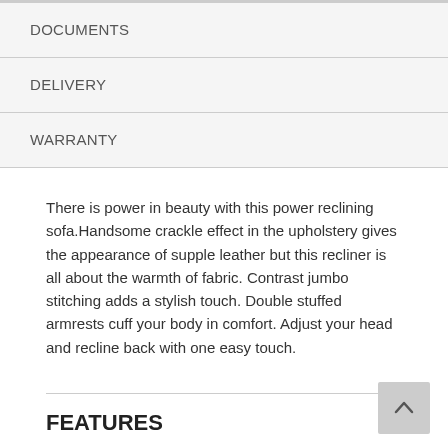DOCUMENTS
DELIVERY
WARRANTY
There is power in beauty with this power reclining sofa.Handsome crackle effect in the upholstery gives the appearance of supple leather but this recliner is all about the warmth of fabric. Contrast jumbo stitching adds a stylish touch. Double stuffed armrests cuff your body in comfort. Adjust your head and recline back with one easy touch.
FEATURES
Dual-sided recliner; middle seat remains stationary